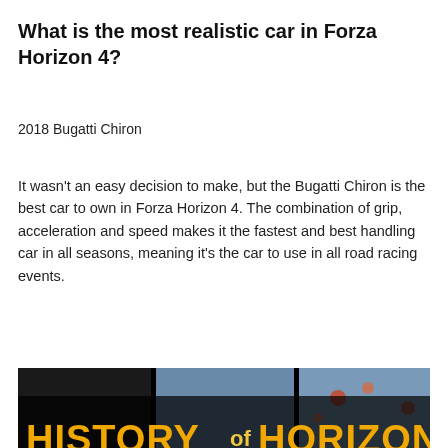What is the most realistic car in Forza Horizon 4?
2018 Bugatti Chiron
It wasn't an easy decision to make, but the Bugatti Chiron is the best car to own in Forza Horizon 4. The combination of grip, acceleration and speed makes it the fastest and best handling car in all seasons, meaning it's the car to use in all road racing events.
[Figure (screenshot): YouTube video thumbnail showing 'HISTORY of HORIZON' with collage of Forza Horizon game cars and a red YouTube play button in the center]